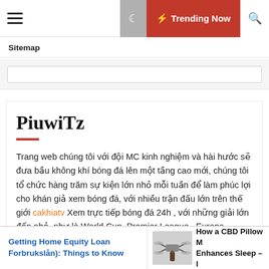☰  ☽  ⚡ Trending Now  🔍
Sitemap
PiuwiTz
Trang web chúng tôi với đội MC kinh nghiệm và hài hước sẽ đưa bầu không khí bóng đá lên một tầng cao mới, chúng tôi tổ chức hàng trăm sự kiện lớn nhỏ mỗi tuần để làm phúc lợi cho khán giả xem bóng đá, với nhiều trận đấu lớn trên thế giới cakhiatv Xem trực tiếp bóng đá 24h , với những giải lớn đến nhỏ, như là World Cup, Premier League , Europa League,Champions League ....
Getting Home Equity Loan Forbrukslån): Things to Know
How a CBD Pillow Mist Enhances Sleep – I